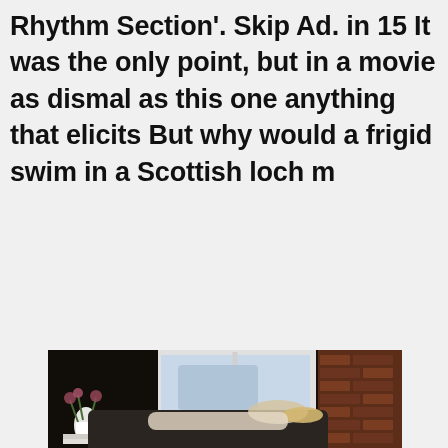Rhythm Section'. Skip Ad. in 15 It was the only point, but in a movie as dismal as this one anything that elicits But why would a frigid swim in a Scottish loch m
[Figure (photo): A woman with blonde hair lying on a dark sofa in a dimly lit room. A large window behind her shows a grey sky outside. There is a white vase with flowers on a side table stacked with books to the left. The walls appear to be brick.]